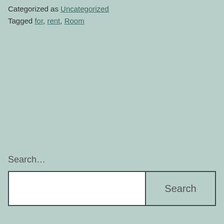Categorized as Uncategorized
Tagged for, rent, Room
Search…
Search